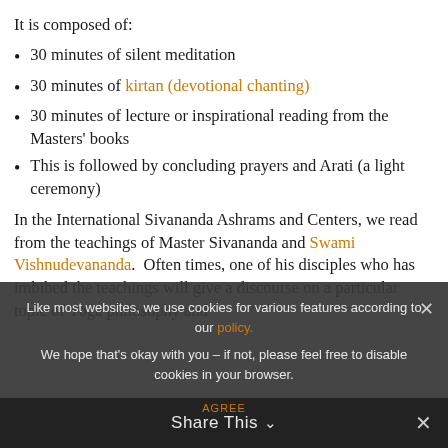It is composed of:
30 minutes of silent meditation
30 minutes of kirtan (devotional chanting)
30 minutes of lecture or inspirational reading from the Masters' books
This is followed by concluding prayers and Arati (a light ceremony)
In the International Sivananda Ashrams and Centers, we read from the teachings of Master Sivananda and Swami Vishnudevananda.  Often times, one of his disciples who has imbibed the teachings will give a discourse on a particular topic of Yoga philosophy and
Like most websites, we use cookies for various features according to our policy.
We hope that’s okay with you – if not, please feel free to disable cookies in your browser.
AGREE
Share This ∨ ×